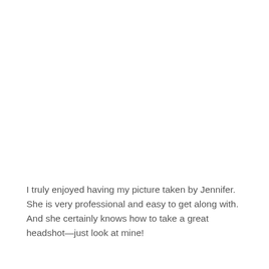I truly enjoyed having my picture taken by Jennifer. She is very professional and easy to get along with. And she certainly knows how to take a great headshot—just look at mine!